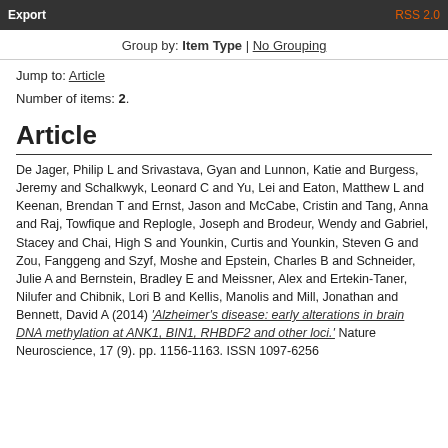Export | RSS 2.0
Group by: Item Type | No Grouping
Jump to: Article
Number of items: 2.
Article
De Jager, Philip L and Srivastava, Gyan and Lunnon, Katie and Burgess, Jeremy and Schalkwyk, Leonard C and Yu, Lei and Eaton, Matthew L and Keenan, Brendan T and Ernst, Jason and McCabe, Cristin and Tang, Anna and Raj, Towfique and Replogle, Joseph and Brodeur, Wendy and Gabriel, Stacey and Chai, High S and Younkin, Curtis and Younkin, Steven G and Zou, Fanggeng and Szyf, Moshe and Epstein, Charles B and Schneider, Julie A and Bernstein, Bradley E and Meissner, Alex and Ertekin-Taner, Nilufer and Chibnik, Lori B and Kellis, Manolis and Mill, Jonathan and Bennett, David A (2014) 'Alzheimer's disease: early alterations in brain DNA methylation at ANK1, BIN1, RHBDF2 and other loci.' Nature Neuroscience, 17 (9). pp. 1156-1163. ISSN 1097-6256